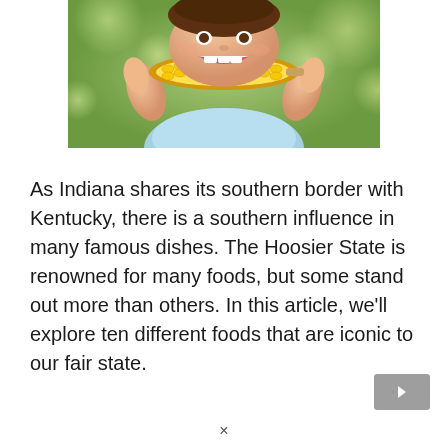[Figure (photo): A smiling child eating a corn on the cob outdoors, with a green blurred background.]
As Indiana shares its southern border with Kentucky, there is a southern influence in many famous dishes. The Hoosier State is renowned for many foods, but some stand out more than others. In this article, we'll explore ten different foods that are iconic to our fair state.